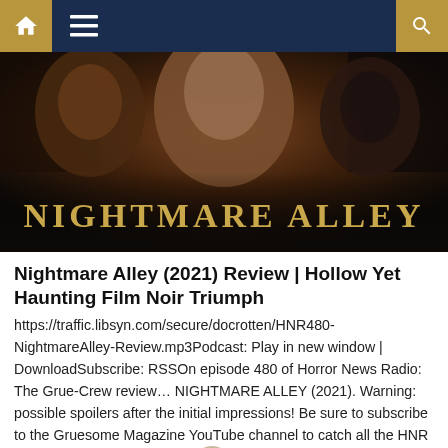Navigation bar with home, menu, and search icons
[Figure (photo): Movie poster for Nightmare Alley (2021) showing three women in dark, atmospheric noir styling with golden text 'NIGHTMARE ALLEY' at the bottom]
Nightmare Alley (2021) Review | Hollow Yet Haunting Film Noir Triumph
https://traffic.libsyn.com/secure/docrotten/HNR480-NightmareAlley-Review.mp3Podcast: Play in new window | DownloadSubscribe: RSSOn episode 480 of Horror News Radio: The Grue-Crew review... NIGHTMARE ALLEY (2021). Warning: possible spoilers after the initial impressions! Be sure to subscribe to the Gruesome Magazine YouTube channel to catch all the HNR episodes. This is HORROR NEWS RADIO, the official GRUESOME MAGAZINE podcast. Back with